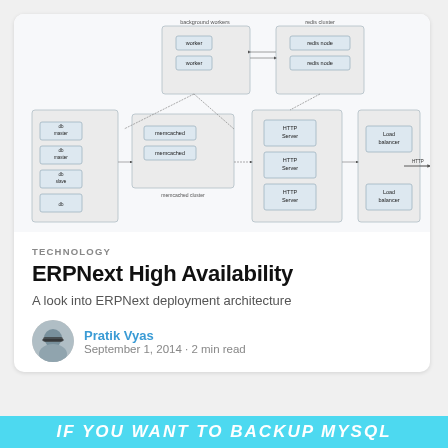[Figure (schematic): ERPNext High Availability architecture diagram showing background workers (worker boxes), redis cluster (redis node boxes), memcached cluster (memcached boxes), HTTP Servers, Load balancers, and DB master/slave nodes connected with arrows.]
TECHNOLOGY
ERPNext High Availability
A look into ERPNext deployment architecture
Pratik Vyas
September 1, 2014 · 2 min read
IF YOU WANT TO BACKUP MYSQL